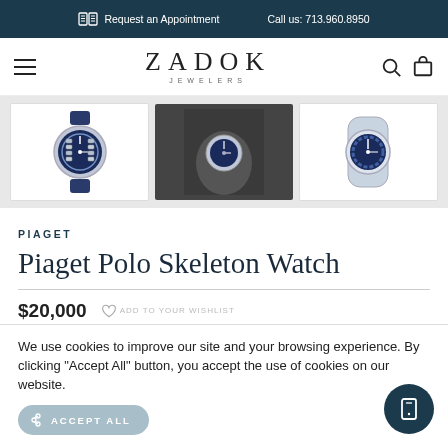Request an Appointment   Call us: 713.960.8950
[Figure (logo): Zadok Jewelers logo with hamburger menu, search and cart icons]
[Figure (photo): Three thumbnail images of the Piaget Polo Skeleton Watch — front view with blue dial, wrist shot, and angled view with open skeleton dial]
PIAGET
Piaget Polo Skeleton Watch
$20,000
We use cookies to improve our site and your browsing experience. By clicking "Accept All" button, you accept the use of cookies on our website.